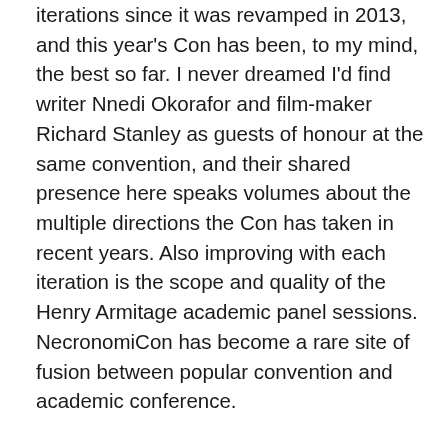I've attended NecronomiCon at each of its bi-annual iterations since it was revamped in 2013, and this year's Con has been, to my mind, the best so far. I never dreamed I'd find writer Nnedi Okorafor and film-maker Richard Stanley as guests of honour at the same convention, and their shared presence here speaks volumes about the multiple directions the Con has taken in recent years. Also improving with each iteration is the scope and quality of the Henry Armitage academic panel sessions. NecronomiCon has become a rare site of fusion between popular convention and academic conference.

(You can read my thoughts on the 2015 NecronomiCon, the difficulties posed by reconciling Lovecraft with weird fiction understood inclusively and internationally, and the appeal of cutesy and tweird collectibles here. For a fictionalized, pointedly satirical, and unsettlingly comical